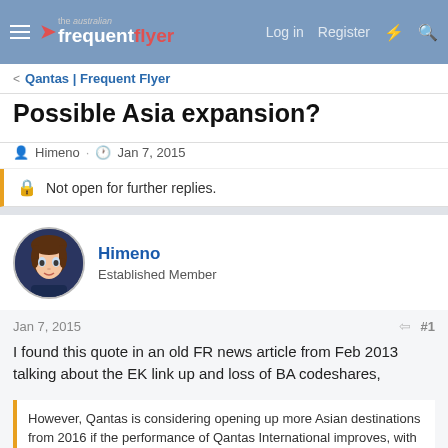The Australian Frequent Flyer — Log in  Register
< Qantas | Frequent Flyer
Possible Asia expansion?
Himeno · Jan 7, 2015
Not open for further replies.
Himeno
Established Member
Jan 7, 2015  #1
I found this quote in an old FR news article from Feb 2013 talking about the EK link up and loss of BA codeshares,
However, Qantas is considering opening up more Asian destinations from 2016 if the performance of Qantas International improves, with Beijing, Seoul, Mumbai, Delhi and Tokyo-Haneda under consideration